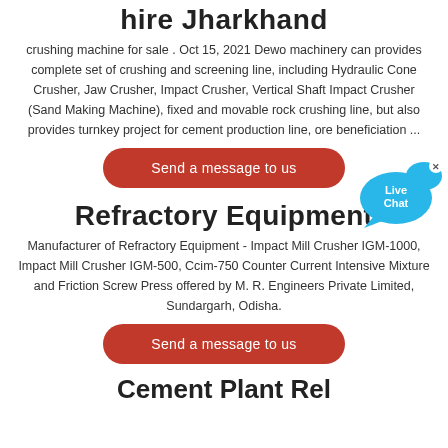hire Jharkhand
crushing machine for sale . Oct 15, 2021 Dewo machinery can provides complete set of crushing and screening line, including Hydraulic Cone Crusher, Jaw Crusher, Impact Crusher, Vertical Shaft Impact Crusher (Sand Making Machine), fixed and movable rock crushing line, but also provides turnkey project for cement production line, ore beneficiation ...
[Figure (other): Live Chat bubble icon in cyan/blue color with 'Live Chat' text and a close X button]
Send a message to us
Refractory Equipment
Manufacturer of Refractory Equipment - Impact Mill Crusher IGM-1000, Impact Mill Crusher IGM-500, Ccim-750 Counter Current Intensive Mixture and Friction Screw Press offered by M. R. Engineers Private Limited, Sundargarh, Odisha.
Send a message to us
Cement Plant Rel...